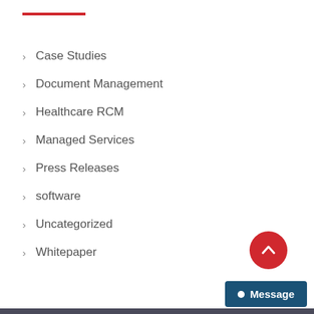Case Studies
Document Management
Healthcare RCM
Managed Services
Press Releases
software
Uncategorized
Whitepaper
[Figure (other): Red circular back-to-top button with upward chevron arrow]
Message